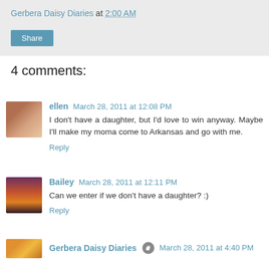Gerbera Daisy Diaries at 2:00 AM
Share
4 comments:
ellen  March 28, 2011 at 12:08 PM
I don't have a daughter, but I'd love to win anyway. Maybe I'll make my moma come to Arkansas and go with me.
Reply
Bailey  March 28, 2011 at 12:11 PM
Can we enter if we don't have a daughter? :)
Reply
Gerbera Daisy Diaries  March 28, 2011 at 4:40 PM